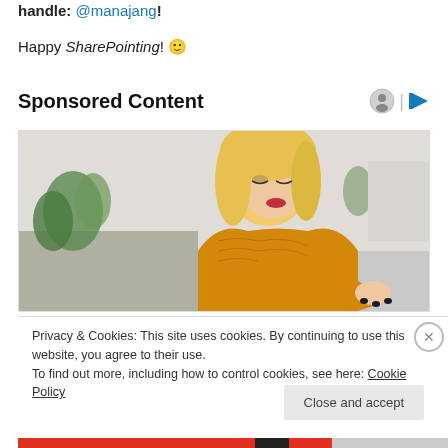handle: @manajang!
Happy SharePointing! 🙂
Sponsored Content
[Figure (photo): Woman with blonde hair wearing a yellow knit sweater looking down at her wrist/arm, seated on a couch with plants in the background]
Privacy & Cookies: This site uses cookies. By continuing to use this website, you agree to their use.
To find out more, including how to control cookies, see here: Cookie Policy
Close and accept